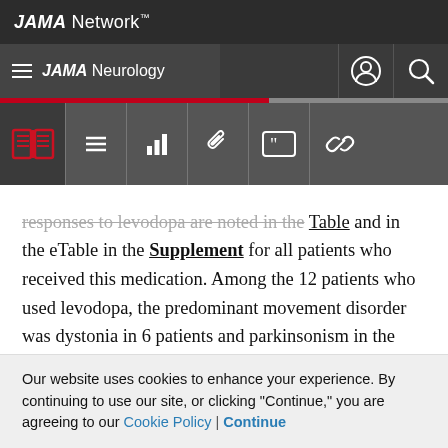JAMA Network™
JAMA Neurology
responses to levodopa are noted in the Table and in the eTable in the Supplement for all patients who received this medication. Among the 12 patients who used levodopa, the predominant movement disorder was dystonia in 6 patients and parkinsonism in the other 6. The fact that we do not know exactly how the pathophysiology of mitochondrial parkinsonism differs from IPD and indeed whether there are several mechanisms leading to similar phenotypes renders
Our website uses cookies to enhance your experience. By continuing to use our site, or clicking "Continue," you are agreeing to our Cookie Policy | Continue